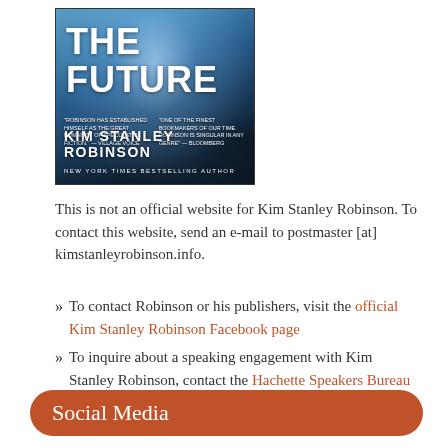[Figure (photo): Book cover for 'The Future' by Kim Stanley Robinson, New York Times Bestselling Author. Dark blue architectural interior with bright light, large white title text 'THE FUTURE', author quotes, and author name.]
This is not an official website for Kim Stanley Robinson. To contact this website, send an e-mail to postmaster [at] kimstanleyrobinson.info.
To contact Robinson or his publishers, visit the official Kim Stanley Robinson Facebook page
To inquire about a speaking engagement with Kim Stanley Robinson, contact the Hachette Speakers Bureau
Social Media